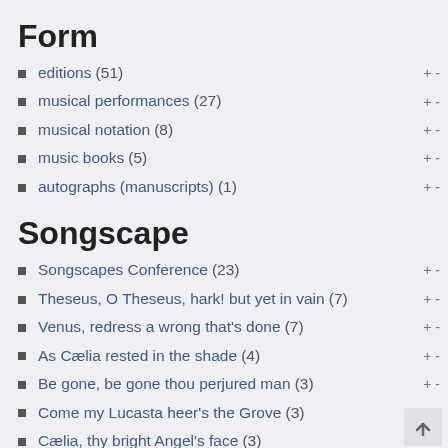Form
editions (51)
musical performances (27)
musical notation (8)
music books (5)
autographs (manuscripts) (1)
Songscape
Songscapes Conference (23)
Theseus, O Theseus, hark! but yet in vain (7)
Venus, redress a wrong that's done (7)
As Cælia rested in the shade (4)
Be gone, be gone thou perjured man (3)
Come my Lucasta heer's the Grove (3)
Cælia, thy bright Angel's face (3)
When thou, poor Excommunicate (3)
While I listen to thy voyce (3)
Amarantha sweet & fair (2)